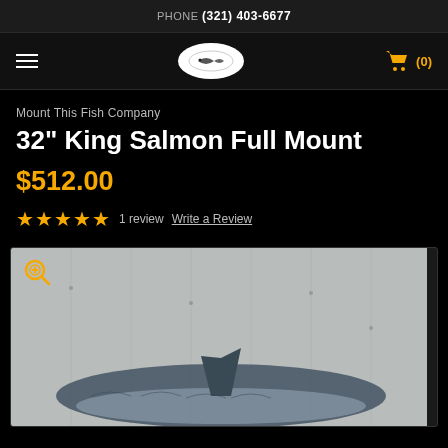PHONE (321) 403-6677
[Figure (logo): Navigation bar with hamburger menu, fish company logo badge, and shopping cart icon showing (0) items]
Mount This Fish Company
32" King Salmon Full Mount
$512.00
1 review  Write a Review
[Figure (photo): King Salmon fish mount photo showing a mounted salmon on a light gray/white wall background, with a dorsal fin visible]